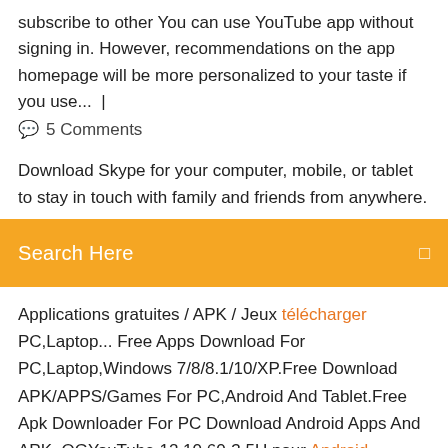subscribe to other You can use YouTube app without signing in. However, recommendations on the app homepage will be more personalized to your taste if you use...  |
💬  5 Comments
Download Skype for your computer, mobile, or tablet to stay in touch with family and friends from anywhere.
Search Here
Applications gratuites / APK / Jeux télécharger PC,Laptop... Free Apps Download For PC,Laptop,Windows 7/8/8.1/10/XP.Free Download APK/APPS/Games For PC,Android And Tablet.Free Apk Downloader For PC Download Android Apps And APK. OGYouTube 12.10.60-3.5U pour Android - Télécharger Télécharger OGYouTube 12.10.60-3.5U. Télécharge des vidéos YouTube facilement. OGYouTube est un client YouTube très spécial qui te laisse télécharger n'importe quelle vidéo à partir de YouTube directement sur la mémoire de